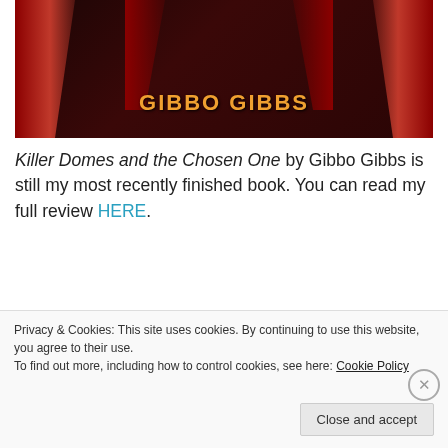[Figure (illustration): Book cover for 'Killer Domes and the Chosen One' by Gibbo Gibbs — dark red/maroon background with curtain-like red shapes and the author name 'GIBBO GIBBS' in orange text at bottom center.]
Killer Domes and the Chosen One by Gibbo Gibbs is still my most recently finished book. You can read my full review HERE.
[Figure (screenshot): Partial advertisement banner showing 'WordPress Works Best' in blue bold text, partially cropped.]
REPORT THIS AD
Privacy & Cookies: This site uses cookies. By continuing to use this website, you agree to their use.
To find out more, including how to control cookies, see here: Cookie Policy